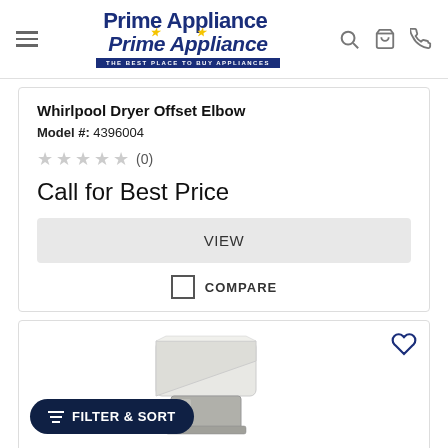Prime Appliance — THE BEST PLACE TO BUY APPLIANCES
Whirlpool Dryer Offset Elbow
Model #: 4396004
★★★★★ (0)
Call for Best Price
VIEW
COMPARE
[Figure (photo): Photo of a dryer offset elbow part, white plastic with metal connector, shown in the second product card.]
FILTER & SORT